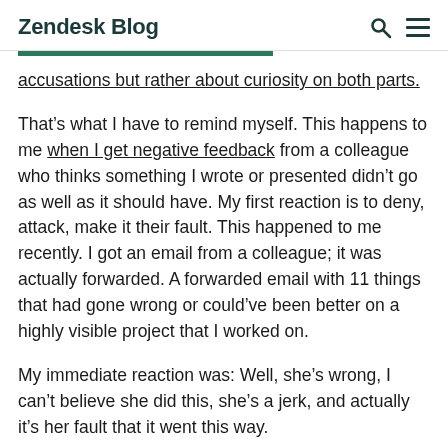Zendesk Blog
accusations but rather about curiosity on both parts.
That’s what I have to remind myself. This happens to me when I get negative feedback from a colleague who thinks something I wrote or presented didn’t go as well as it should have. My first reaction is to deny, attack, make it their fault. This happened to me recently. I got an email from a colleague; it was actually forwarded. A forwarded email with 11 things that had gone wrong or could’ve been better on a highly visible project that I worked on.
My immediate reaction was: Well, she’s wrong, I can’t believe she did this, she’s a jerk, and actually it’s her fault that it went this way.
Then immediately, as soon as I felt that reaction happening